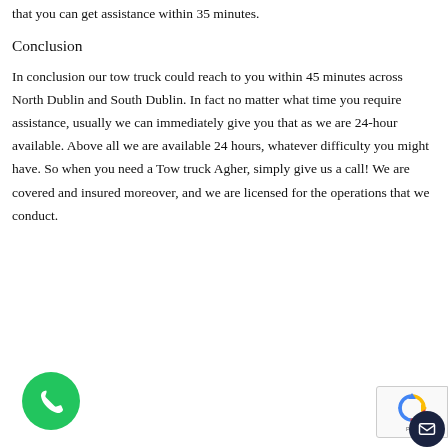that you can get assistance within 35 minutes.
Conclusion
In conclusion our tow truck could reach to you within 45 minutes across North Dublin and South Dublin. In fact no matter what time you require assistance, usually we can immediately give you that as we are 24-hour available. Above all we are available 24 hours, whatever difficulty you might have. So when you need a Tow truck Agher, simply give us a call! We are covered and insured moreover, and we are licensed for the operations that we conduct.
[Figure (illustration): Green circular phone call button with white phone handset icon]
[Figure (logo): reCAPTCHA badge with blue recycling-arrow logo and Privacy text]